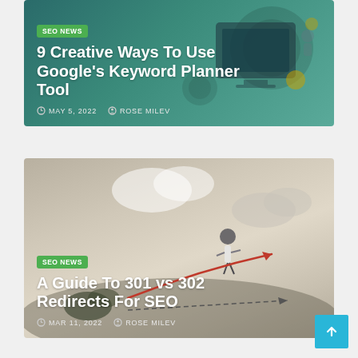[Figure (screenshot): Blog card 1: SEO News article titled '9 Creative Ways To Use Google's Keyword Planner Tool' with teal background and digital marketing illustration. Date: MAY 5, 2022, Author: ROSE MILEV.]
[Figure (screenshot): Blog card 2: SEO News article titled 'A Guide To 301 vs 302 Redirects For SEO' with beige background and business figure illustration with arrows. Date: MAR 11, 2022, Author: ROSE MILEV.]